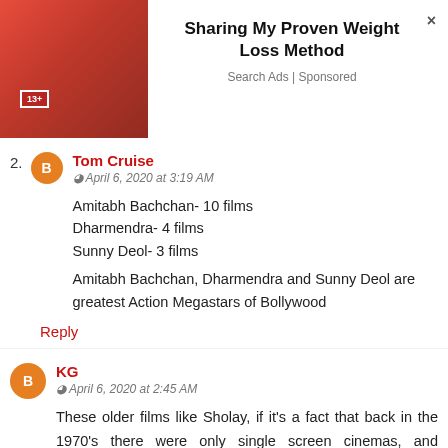[Figure (photo): Advertisement banner with a woman in red pouring a drink, promoting 'Sharing My Proven Weight Loss Method']
Sharing My Proven Weight Loss Method
Search Ads | Sponsored
2. Tom Cruise
April 6, 2020 at 3:19 AM
Amitabh Bachchan- 10 films
Dharmendra- 4 films
Sunny Deol- 3 films
Amitabh Bachchan, Dharmendra and Sunny Deol are greatest Action Megastars of Bollywood
Reply
KG
April 6, 2020 at 2:45 AM
These older films like Sholay, if it's a fact that back in the 1970's there were only single screen cinemas, and cinemas were a lot less in number, population